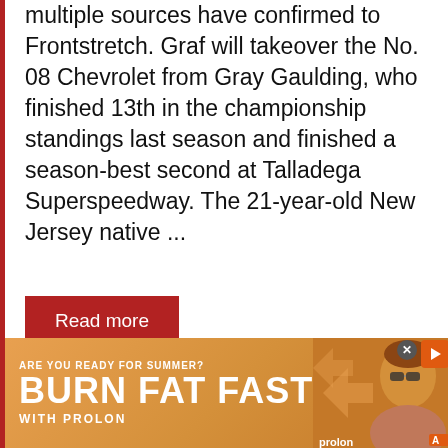multiple sources have confirmed to Frontstretch. Graf will takeover the No. 08 Chevrolet from Gray Gaulding, who finished 13th in the championship standings last season and finished a season-best second at Talladega Superspeedway. The 21-year-old New Jersey native ...
Read more
Dustin Albino, Xfinity News
Joe Graf Jr.
3 Comments
[Figure (other): Advertisement banner: ARE YOU READY FOR SUMMER? BURN FAT FAST WITH PROLON — orange background with woman in sunglasses]